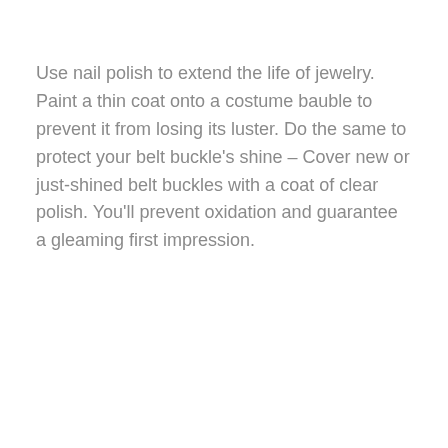Use nail polish to extend the life of jewelry. Paint a thin coat onto a costume bauble to prevent it from losing its luster. Do the same to protect your belt buckle's shine – Cover new or just-shined belt buckles with a coat of clear polish. You'll prevent oxidation and guarantee a gleaming first impression.